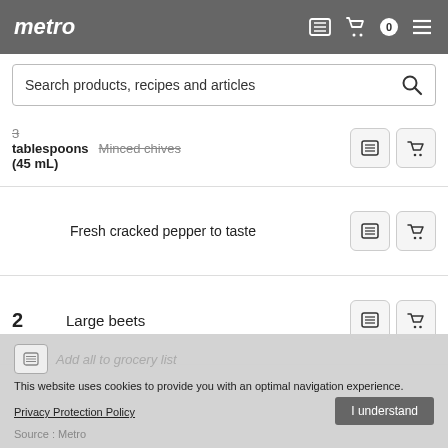metro
Search products, recipes and articles
3 tablespoons (45 mL) — Minced chives
Fresh cracked pepper to taste
2 Large beets
Add all to grocery list
This website uses cookies to provide you with an optimal navigation experience.
Privacy Protection Policy
I understand
Source : Metro